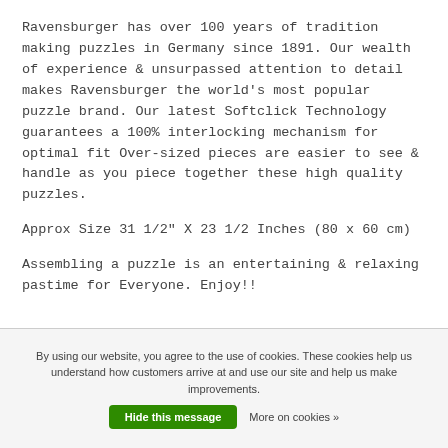Ravensburger has over 100 years of tradition making puzzles in Germany since 1891.  Our wealth of experience & unsurpassed attention to detail makes Ravensburger the world's most popular puzzle brand.  Our latest Softclick Technology guarantees a 100% interlocking mechanism for optimal fit  Over-sized pieces are easier to see & handle as you piece together these high quality puzzles.
Approx Size 31 1/2" X 23 1/2  Inches (80 x 60 cm)
Assembling a puzzle is an entertaining & relaxing pastime for Everyone.  Enjoy!!
By using our website, you agree to the use of cookies. These cookies help us understand how customers arrive at and use our site and help us make improvements.  Hide this message  More on cookies »